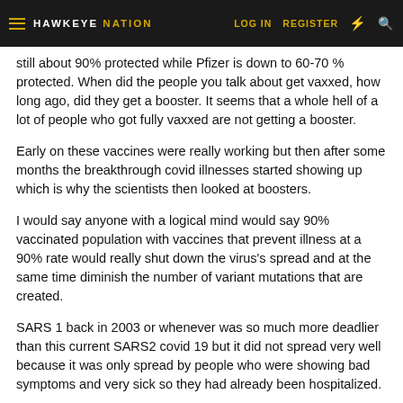HAWKEYE NATION | LOG IN | REGISTER
still about 90% protected while Pfizer is down to 60-70 % protected. When did the people you talk about get vaxxed, how long ago, did they get a booster. It seems that a whole hell of a lot of people who got fully vaxxed are not getting a booster.
Early on these vaccines were really working but then after some months the breakthrough covid illnesses started showing up which is why the scientists then looked at boosters.
I would say anyone with a logical mind would say 90% vaccinated population with vaccines that prevent illness at a 90% rate would really shut down the virus's spread and at the same time diminish the number of variant mutations that are created.
SARS 1 back in 2003 or whenever was so much more deadlier than this current SARS2 covid 19 but it did not spread very well because it was only spread by people who were showing bad symptoms and very sick so they had already been hospitalized.